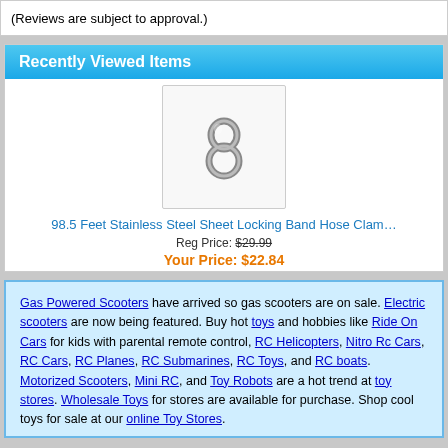(Reviews are subject to approval.)
Recently Viewed Items
[Figure (photo): Product image of a metallic number 8 / hose clamp on white background]
98.5 Feet Stainless Steel Sheet Locking Band Hose Clamp
Reg Price: $29.99
Your Price: $22.84
Gas Powered Scooters have arrived so gas scooters are on sale. Electric scooters are now being featured. Buy hot toys and hobbies like Ride On Cars for kids with parental remote control, RC Helicopters, Nitro Rc Cars, RC Cars, RC Planes, RC Submarines, RC Toys, and RC boats. Motorized Scooters, Mini RC, and Toy Robots are a hot trend at toy stores. Wholesale Toys for stores are available for purchase. Shop cool toys for sale at our online Toy Stores.